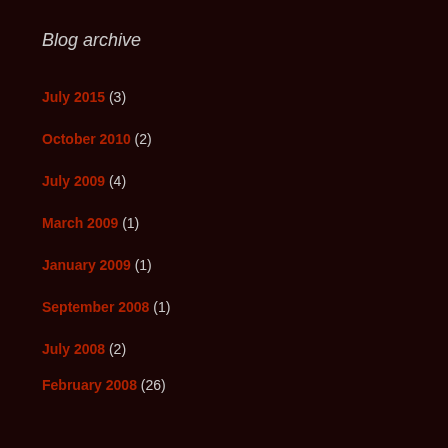Blog archive
July 2015 (3)
October 2010 (2)
July 2009 (4)
March 2009 (1)
January 2009 (1)
September 2008 (1)
July 2008 (2)
February 2008 (26)
Site related
Log in
Entries feed